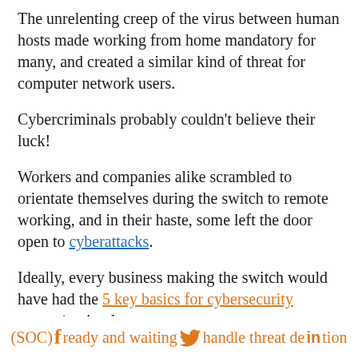The unrelenting creep of the virus between human hosts made working from home mandatory for many, and created a similar kind of threat for computer network users.
Cybercriminals probably couldn't believe their luck!
Workers and companies alike scrambled to orientate themselves during the switch to remote working, and in their haste, some left the door open to cyberattacks.
Ideally, every business making the switch would have had the 5 key basics for cybersecurity protection in place.
This ideally includes a security operations center (SOC) ready and waiting handle threat de in tion and incident...
(SOC) f ready and waiting [twitter bird] handle threat de in tion